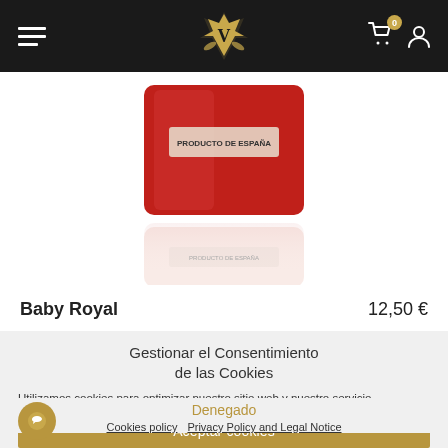[Figure (screenshot): Dark navigation bar with hamburger menu on left, gold crown/V logo in center, shopping cart with badge '0' and user icon on right]
[Figure (photo): Red fragrance bottle with 'PRODUCTO DE ESPAÑA' label, shown with reflection below, on white background]
Baby Royal    12,50 €
Gestionar el Consentimiento de las Cookies
Utilizamos cookies para optimizar nuestro sitio web y nuestro servicio.
Aceptar cookies
Denegado
Cookies policy  Privacy Policy and Legal Notice